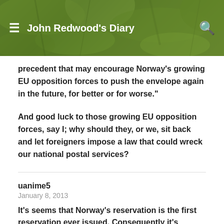John Redwood's Diary
precedent that may encourage Norway's growing EU opposition forces to push the envelope again in the future, for better or for worse."
And good luck to those growing EU opposition forces, say I; why should they, or we, sit back and let foreigners impose a law that could wreck our national postal services?
uanime5
January 8, 2013
It's seems that Norway's reservation is the first reservation ever issued. Consequently it's impossible to know what the outcome of this will be.